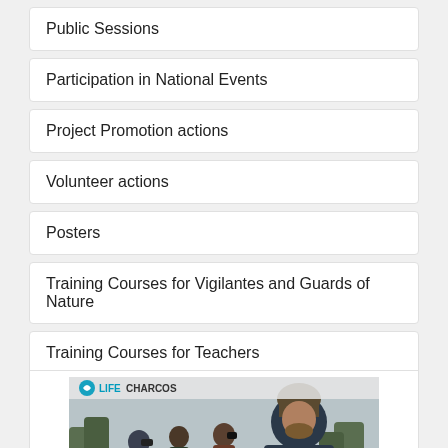Public Sessions
Participation in National Events
Project Promotion actions
Volunteer actions
Posters
Training Courses for Vigilantes and Guards of Nature
Training Courses for Teachers
[Figure (photo): Group of people outdoors near a wetland or nature reserve, with LIFECHARCOS logo in top-left corner. People appear to be using binoculars and cameras, dressed in outdoor clothing. Overcast sky with trees in background.]